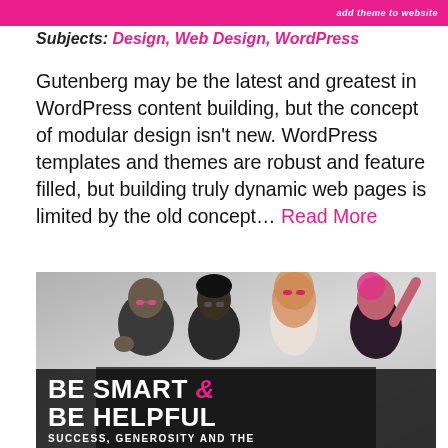add theme to website
Subjects: Design, Web Design, WordPress
Gutenberg may be the latest and greatest in WordPress content building, but the concept of modular design isn't new. WordPress templates and themes are robust and feature filled, but building truly dynamic web pages is limited by the old concept… Read More
[Figure (photo): Group photo of four people smiling and posing, with overlay text reading 'BE SMART & BE HELPFUL / SUCCESS, GENEROSITY AND THE']